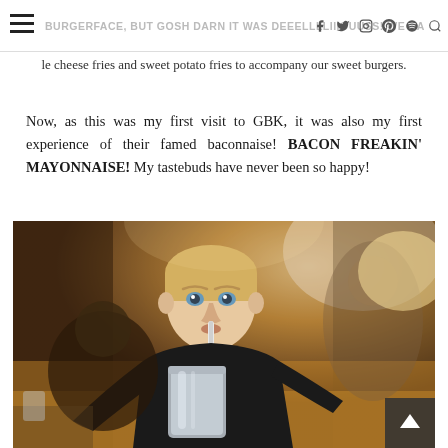BURGERFACE, but gosh darn it was DEEELLLLIIIOUUSS! We had le cheese fries and sweet potato fries [social icons] burgers.
burgers.
Now, as this was my first visit to GBK, it was also my first experience of their famed baconnaise! BACON FREAKIN' MAYONNAISE! My tastebuds have never been so happy!
[Figure (photo): A young blond man in a black t-shirt drinking from a metal cup through a straw, seated in a restaurant with warm amber/yellow booth seating. Other diners visible in background.]